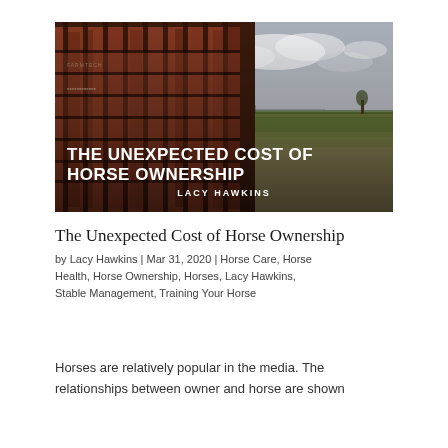[Figure (photo): Hero image of a rusty red livestock trailer/truck with metal slats, viewed from the side, with a flat rural landscape and cloudy sky in the background. Overlaid text reads 'THE UNEXPECTED COST OF HORSE OWNERSHIP' in bold white uppercase letters, and below it 'LACY HAWKINS' in smaller white uppercase letters.]
The Unexpected Cost of Horse Ownership
by Lacy Hawkins | Mar 31, 2020 | Horse Care, Horse Health, Horse Ownership, Horses, Lacy Hawkins, Stable Management, Training Your Horse
Horses are relatively popular in the media. The relationships between owner and horse are shown